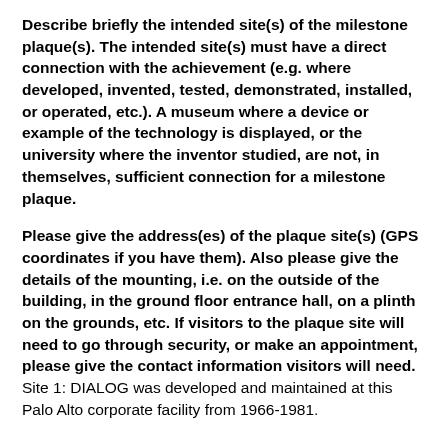Describe briefly the intended site(s) of the milestone plaque(s). The intended site(s) must have a direct connection with the achievement (e.g. where developed, invented, tested, demonstrated, installed, or operated, etc.). A museum where a device or example of the technology is displayed, or the university where the inventor studied, are not, in themselves, sufficient connection for a milestone plaque.
Please give the address(es) of the plaque site(s) (GPS coordinates if you have them). Also please give the details of the mounting, i.e. on the outside of the building, in the ground floor entrance hall, on a plinth on the grounds, etc. If visitors to the plaque site will need to go through security, or make an appointment, please give the contact information visitors will need. Site 1: DIALOG was developed and maintained at this Palo Alto corporate facility from 1966-1981.